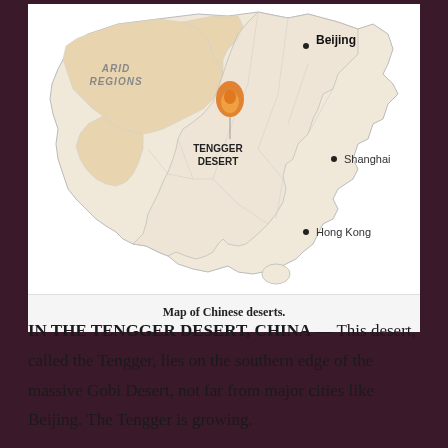[Figure (map): Map of China showing arid regions highlighted in light tan/beige, with the Tengger Desert marked in orange in north-central China. Cities labeled: Beijing (northeast, bold), Shanghai (east), Hong Kong (southeast). The Tengger Desert label appears in bold capital letters near the orange marker.]
Map of Chinese deserts.
IN THE TENGGER DESERT, CHINA — This desert, called the Tengger, lies on the southern edge of the massive Gobi Desert, not far from major cities like Beijing. The Tengger is growing.